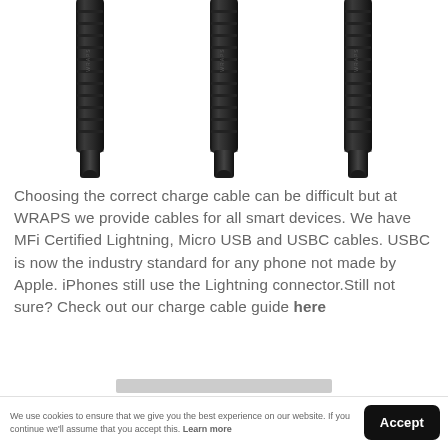[Figure (photo): Three black braided charge cables shown vertically side by side against a white background, showing the cable body and connector ends.]
Choosing the correct charge cable can be difficult but at WRAPS we provide cables for all smart devices. We have MFi Certified Lightning, Micro USB and USBC cables. USBC is now the industry standard for any phone not made by Apple. iPhones still use the Lightning connector.Still not sure? Check out our charge cable guide here
We use cookies to ensure that we give you the best experience on our website. If you continue we'll assume that you accept this. Learn more | Accept